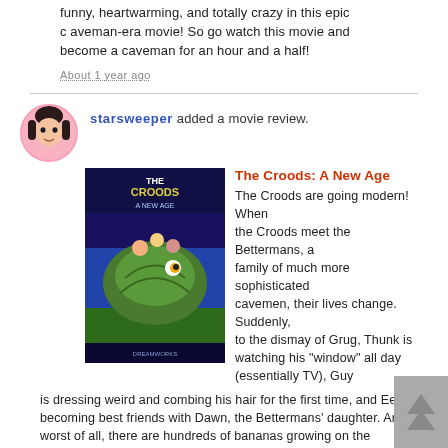funny, heartwarming, and totally crazy in this epic caveman-era movie! So go watch this movie and become a caveman for an hour and a half!
About 1 year ago
starsweeper added a movie review.
[Figure (illustration): Movie poster for The Croods: A New Age]
The Croods: A New Age
The Croods are going modern! When the Croods meet the Bettermans, a family of much more sophisticated cavemen, their lives change. Suddenly, to the dismay of Grug, Thunk is watching his "window" all day (essentially TV), Guy is dressing weird and combing his hair for the first time, and Eep is becoming best friends with Dawn, the Bettermans' daughter. And worst of all, there are hundreds of bananas growing on the Bettermans' land, but Grug isn't allowed to eat ANY of them. Worried his family is splitting up and going separate ways, Grug and his wife, Ugga, try to defy the Bettermans and show them that, though they may not be as sophisticated as they are, they still know how to live. So they eat the bananas. And then the truth comes out... Before they know what's happening, the whole Croods clan, along with the Bettermans, is being attacked by a tribe of bloodthirsty monkeys. Will they be able to team up to save the day, or will the Thunder Sisters fall? This movie was HILARIOUS in every way possible. It